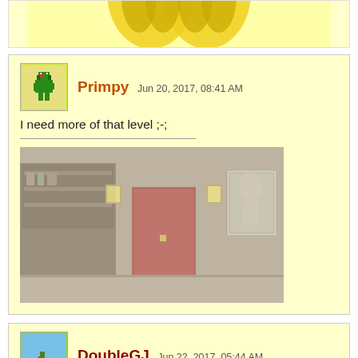[Figure (screenshot): Top cropped image showing yellow arched shapes on light yellow background]
Primpy Jun 20, 2017, 08:41 AM
I need more of that level ;-;
[Figure (screenshot): Screenshot of a game level showing a dark interior scene with a red door, wall lights, a picture frame, and a hallway]
DoubleGJ Jun 22, 2017, 05:44 AM
...!!!
I'm stoked!
"So unless I overwrote my heart with yours, I think not. But I m